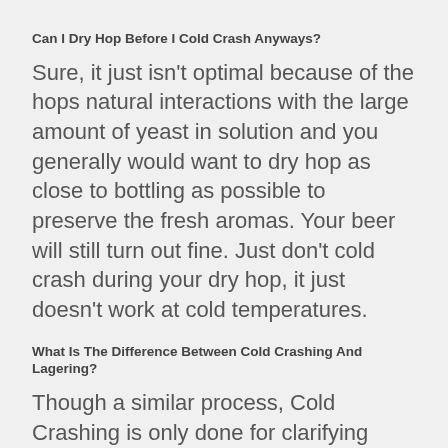Can I Dry Hop Before I Cold Crash Anyways?
Sure, it just isn't optimal because of the hops natural interactions with the large amount of yeast in solution and you generally would want to dry hop as close to bottling as possible to preserve the fresh aromas. Your beer will still turn out fine. Just don't cold crash during your dry hop, it just doesn't work at cold temperatures.
What Is The Difference Between Cold Crashing And Lagering?
Though a similar process, Cold Crashing is only done for clarifying beer. Lagering is a conditioning process that is done to brew a specific style of beer. With lagering, the beer is stored cold for extended periods of time with specific yeasts to reach a specific flavor profile. Cold crashing is done only to make clearer